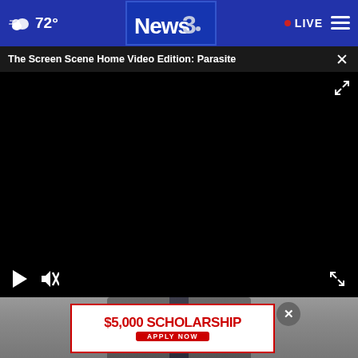72° News3 LIVE
The Screen Scene Home Video Edition: Parasite
[Figure (screenshot): Black video player area with play button, mute button, and fullscreen icon controls]
[Figure (photo): Person in a suit and tie, partially visible at bottom of page]
[Figure (infographic): Advertisement banner: $5,000 SCHOLARSHIP APPLY NOW]